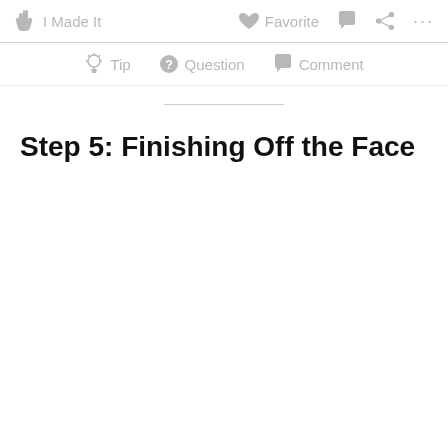I Made It   Favorite   Comment   Share   ...
Tip   Question   Comment
Step 5: Finishing Off the Face